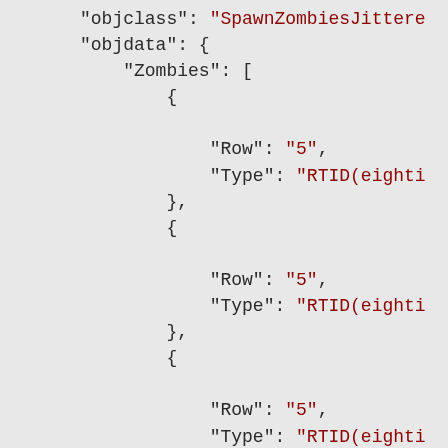JSON code block showing objclass SpawnZombiesJittere, objdata with Zombies array containing multiple objects each with Row: 5 and Type: RTID(eighti